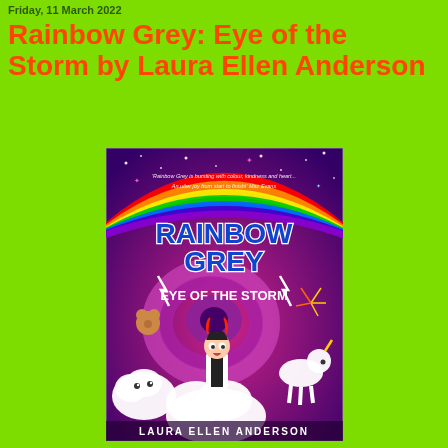Friday, 11 March 2022
Rainbow Grey: Eye of the Storm by Laura Ellen Anderson
[Figure (illustration): Book cover of 'Rainbow Grey: Eye of the Storm' by Laura Ellen Anderson. The cover shows a colorful illustrated scene with a large rainbow and storm swirl in the background (purple/magenta sky with stars), bold text 'RAINBOW GREY' at the top in blue letters with the rainbow behind it, and 'EYE OF THE STORM' below in white text. A girl character with red-tipped black hair is in the center, surrounded by white fluffy cloud-like creatures, a unicorn, and other fantastical animals. At the top is a quote: 'Rainbow Grey is bursting with colour, kindness and heart... An utter joy from start to finish!' Maz Evans. Author name 'LAURA ELLEN ANDERSON' appears at the bottom.]